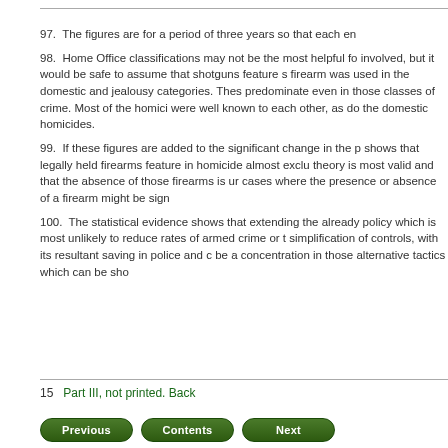97.  The figures are for a period of three years so that each en
98.  Home Office classifications may not be the most helpful fo involved, but it would be safe to assume that shotguns feature s firearm was used in the domestic and jealousy categories. Thes predominate even in those classes of crime. Most of the homici were well known to each other, as do the domestic homicides.
99.  If these figures are added to the significant change in the p shows that legally held firearms feature in homicide almost exclu theory is most valid and that the absence of those firearms is ur cases where the presence or absence of a firearm might be sign
100.  The statistical evidence shows that extending the already policy which is most unlikely to reduce rates of armed crime or t simplification of controls, with its resultant saving in police and c be a concentration in those alternative tactics which can be sho
15   Part III, not printed. Back
Previous   Contents   Next